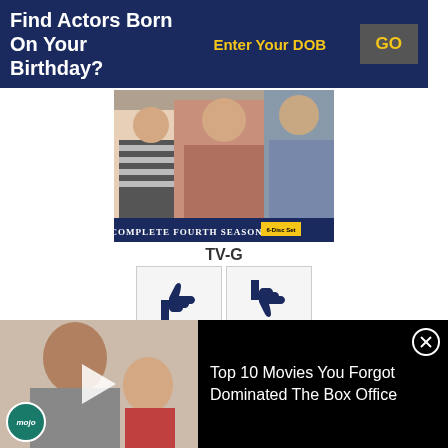Find Actors Born On Your Birthday?
[Figure (screenshot): Movie DVD cover image showing TV show characters - The Complete Fourth Season]
TV-G
[Figure (infographic): Thumbs up icon with count 13 and thumbs down icon with count 3]
As: Cast
Role: Cory Matthews / ...
[Figure (screenshot): Video thumbnail showing Vin Diesel holding baby with WatchMojo branding and play button]
Top 10 Movies You Forgot Dominated The Box Office